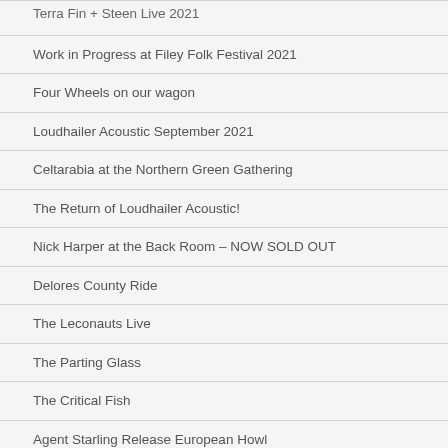Terra Fin + Steen Live 2021
Work in Progress at Filey Folk Festival 2021
Four Wheels on our wagon
Loudhailer Acoustic September 2021
Celtarabia at the Northern Green Gathering
The Return of Loudhailer Acoustic!
Nick Harper at the Back Room – NOW SOLD OUT
Delores County Ride
The Leconauts Live
The Parting Glass
The Critical Fish
Agent Starling Release European Howl
Blood Moon Rises (nuvox)